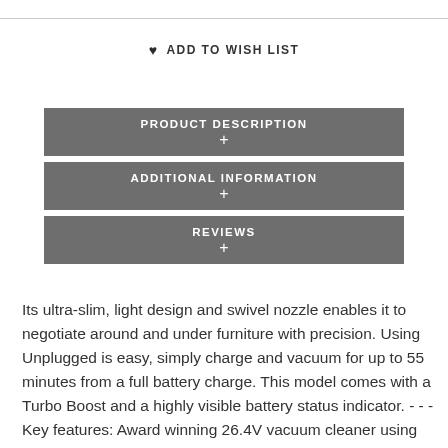♥ ADD TO WISH LIST
PRODUCT DESCRIPTION +
ADDITIONAL INFORMATION +
REVIEWS +
Its ultra-slim, light design and swivel nozzle enables it to negotiate around and under furniture with precision. Using Unplugged is easy, simply charge and vacuum for up to 55 minutes from a full battery charge. This model comes with a Turbo Boost and a highly visible battery status indicator. - - - Key features: Award winning 26.4V vacuum cleaner using